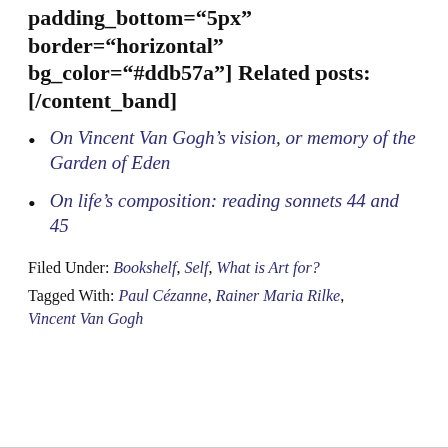padding_top="5px" padding_bottom="5px" border="horizontal" bg_color="#ddb57a"] Related posts: [/content_band]
On Vincent Van Gogh’s vision, or memory of the Garden of Eden
On life’s composition: reading sonnets 44 and 45
Filed Under: Bookshelf, Self, What is Art for?
Tagged With: Paul Cézanne, Rainer Maria Rilke, Vincent Van Gogh